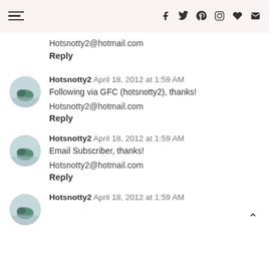Navigation and social icons header
Hotsnotty2@hotmail.com
Reply
Hotsnotty2  April 18, 2012 at 1:59 AM
Following via GFC (hotsnotty2), thanks!
Hotsnotty2@hotmail.com
Reply
Hotsnotty2  April 18, 2012 at 1:59 AM
Email Subscriber, thanks!
Hotsnotty2@hotmail.com
Reply
Hotsnotty2  April 18, 2012 at 1:59 AM